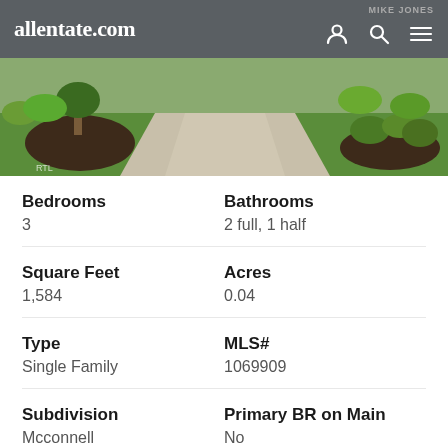allentate.com
[Figure (photo): Exterior photo of a home showing a concrete driveway, green lawn, and landscaped mulch beds with shrubs and a tree.]
Bedrooms
3
Bathrooms
2 full, 1 half
Square Feet
1,584
Acres
0.04
Type
Single Family
MLS#
1069909
Subdivision
Mcconnell
Primary BR on Main
No